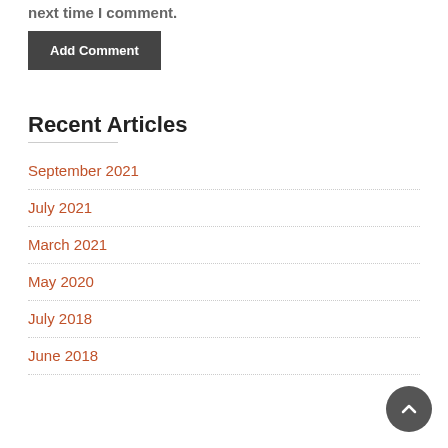next time I comment.
Add Comment
Recent Articles
September 2021
July 2021
March 2021
May 2020
July 2018
June 2018